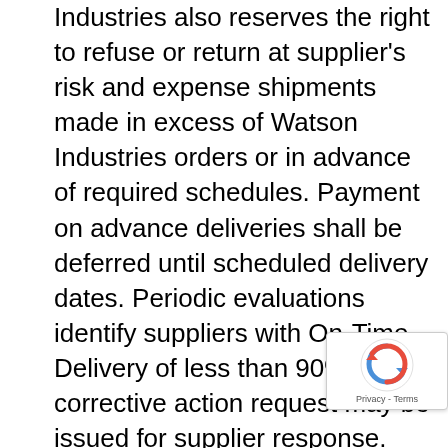Industries also reserves the right to refuse or return at supplier's risk and expense shipments made in excess of Watson Industries orders or in advance of required schedules. Payment on advance deliveries shall be deferred until scheduled delivery dates. Periodic evaluations identify suppliers with On-Time Delivery of less than 90% and a corrective action request may be issued for supplier response.
4. Inspection and Acceptance: Watson Industries final acceptance of Goods or Services is subject to inspection within sixty (60) days after receipt at Watson Industries facility or such other place as may be designated, notwithstanding any payment or prior test or